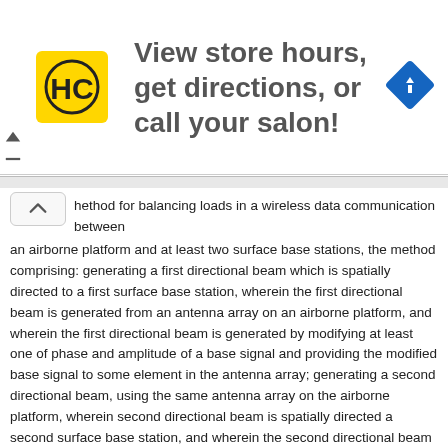[Figure (infographic): Advertisement banner: HC logo on yellow background, text 'View store hours, get directions, or call your salon!', blue diamond navigation icon on right, close/collapse controls on left]
method for balancing loads in a wireless data communication between an airborne platform and at least two surface base stations, the method comprising: generating a first directional beam which is spatially directed to a first surface base station, wherein the first directional beam is generated from an antenna array on an airborne platform, and wherein the first directional beam is generated by modifying at least one of phase and amplitude of a base signal and providing the modified base signal to some element in the antenna array; generating a second directional beam, using the same antenna array on the airborne platform, wherein second directional beam is spatially directed a second surface base station, and wherein the second directional beam is generated by modifying at least one of phase and amplitude of a base signal and providing the modified base signal to at least one element in the antenna array; receiving at least two return signals from the first and second surface base station; and varying amounts of data sent between the first directional beam and the second directional beam such that loads upon each of the first surface base station and the second surface base station are balanced, and wherein balancing the loads upon each of the first surface base station and the second surface